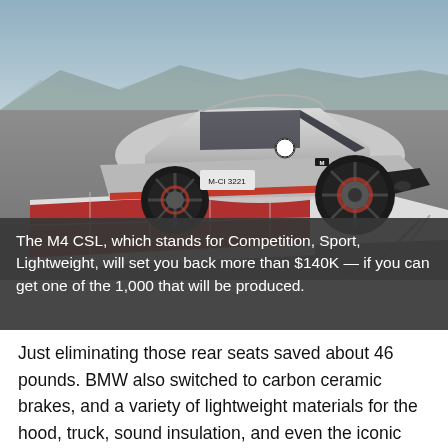[Figure (photo): A silver BMW M4 CSL on a racing track with red curb markings, photographed from the rear three-quarter angle. Mountains visible in the background. The car has a license plate reading M-CI 3221.]
The M4 CSL, which stands for Competition, Sport, Lightweight, will set you back more than $140K — if you can get one of the 1,000 that will be produced.
Just eliminating those rear seats saved about 46 pounds. BMW also switched to carbon ceramic brakes, and a variety of lightweight materials for the hood, truck, sound insulation, and even the iconic double-kidney grille. The double-bubble roof, hood and trunk lid were switched to carbon fiber-reinforced plastics. It